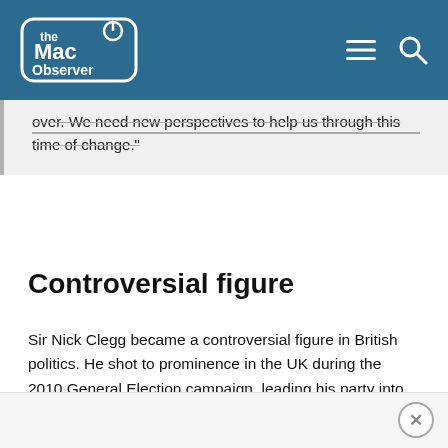the Mac Observer
over. We need new perspectives to help us through this time of change."
Controversial figure
Sir Nick Clegg became a controversial figure in British politics. He shot to prominence in the UK during the 2010 General Election campaign, leading his party into government for the first time. However, a lot of that support fell away when the party went back on a key pledge not raise university tuition fees for students.